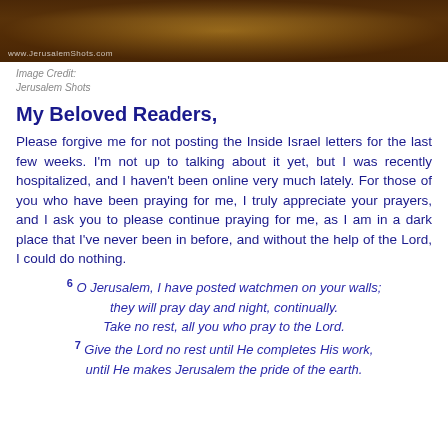[Figure (photo): Nighttime aerial/panoramic photo of Jerusalem with city lights, dark sky, showing the cityscape illuminated at night. Watermark reads www.JerusalemShots.com]
Image Credit:
Jerusalem Shots
My Beloved Readers,
Please forgive me for not posting the Inside Israel letters for the last few weeks. I'm not up to talking about it yet, but I was recently hospitalized, and I haven't been online very much lately. For those of you who have been praying for me, I truly appreciate your prayers, and I ask you to please continue praying for me, as I am in a dark place that I've never been in before, and without the help of the Lord, I could do nothing.
6 O Jerusalem, I have posted watchmen on your walls; they will pray day and night, continually. Take no rest, all you who pray to the Lord. 7 Give the Lord no rest until He completes His work, until He makes Jerusalem the pride of the earth.